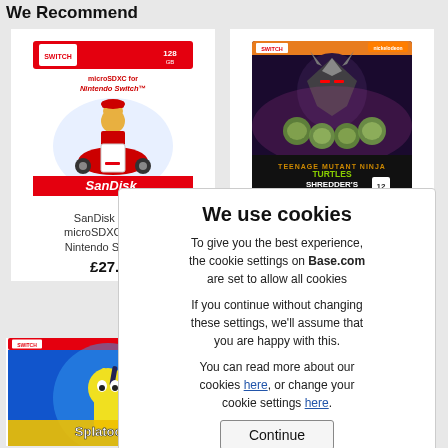We Recommend
[Figure (photo): SanDisk 128GB microSDXC card for Nintendo Switch product image]
SanDisk 128GB microSDXC card for Nintendo Switch U3
£27.29
[Figure (photo): Teenage Mutant Ninja Turtles Shredder's Revenge Nintendo Switch game cover]
[Figure (screenshot): Cookie consent dialog: We use cookies. To give you the best experience, the cookie settings on Base.com are set to allow all cookies. If you continue without changing these settings, we'll assume that you are happy with this. You can read more about our cookies here, or change your cookie settings here.]
[Figure (photo): Splatoon 3 Nintendo Switch game cover (partial)]
[Figure (photo): Another Nintendo Switch game cover (partial, bottom right)]